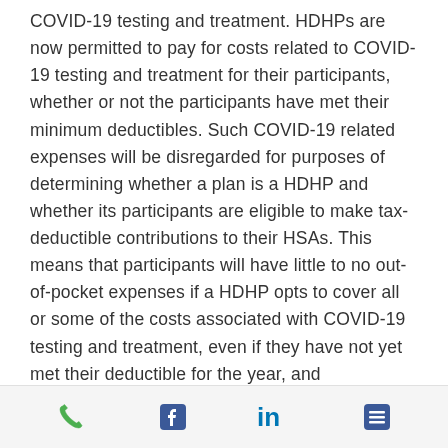COVID-19 testing and treatment. HDHPs are now permitted to pay for costs related to COVID-19 testing and treatment for their participants, whether or not the participants have met their minimum deductibles. Such COVID-19 related expenses will be disregarded for purposes of determining whether a plan is a HDHP and whether its participants are eligible to make tax-deductible contributions to their HSAs. This means that participants will have little to no out-of-pocket expenses if a HDHP opts to cover all or some of the costs associated with COVID-19 testing and treatment, even if they have not yet met their deductible for the year, and
[phone] [facebook] [linkedin] [menu]